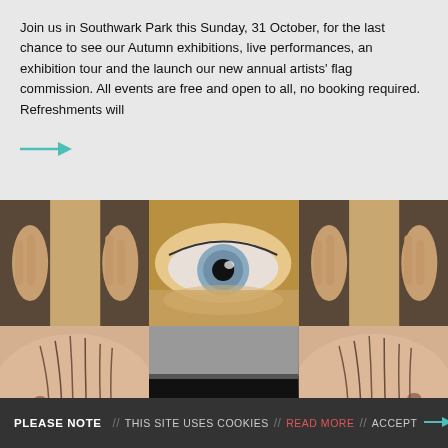Join us in Southwark Park this Sunday, 31 October, for the last chance to see our Autumn exhibitions, live performances, an exhibition tour and the launch our new annual artists' flag commission. All events are free and open to all, no booking required. Refreshments will
[Figure (illustration): Teal/turquoise rightward arrow]
[Figure (photo): 3x3 grid of photographic images: top row shows hands/fingers against dark background (left and right cells) and a close-up of a human eye (center cell); middle row shows skin with dark hair/marks (left and right cells) and a dark blindfold/bar across eyes (center cell); bottom row shows hands holding a white circular object with pink nails (left and right cells) and a close-up of a face nose/mouth area (center cell).]
PLEASE NOTE // THIS SITE USES COOKIES // READ MORE // ACCEPT →